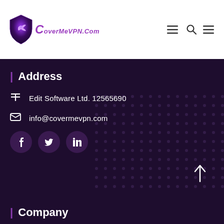CoverMeVPN.Com
| Address
Edit Software Ltd. 12565690
info@covermevpn.com
[Figure (other): Social media icons: Facebook (f), Twitter (bird), LinkedIn (in) as circular buttons]
| Company